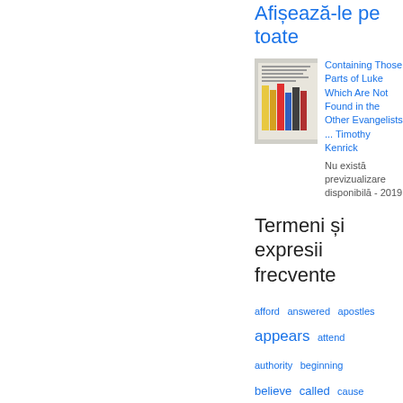Afișează-le pe toate
[Figure (photo): Book cover thumbnail showing colorful books on a shelf]
Containing Those Parts of Luke Which Are Not Found in the Other Evangelists ... Timothy Kenrick
Nu există previzualizare disponibilă - 2019
Termeni și expresii frecvente
afford  answered  apostles  appears  attend  authority  beginning  believe  called  cause  character  Christ  Christian  circumstances